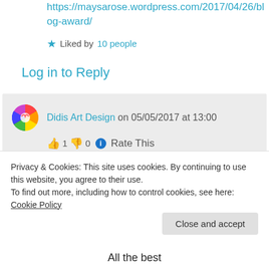https://maysarose.wordpress.com/2017/04/26/blog-award/
★ Liked by 10 people
Log in to Reply
Didis Art Design on 05/05/2017 at 13:00
👍 1 👎 0 ℹ Rate This
Dear friend – thank you very much for
Privacy & Cookies: This site uses cookies. By continuing to use this website, you agree to their use.
To find out more, including how to control cookies, see here: Cookie Policy
Close and accept
All the best